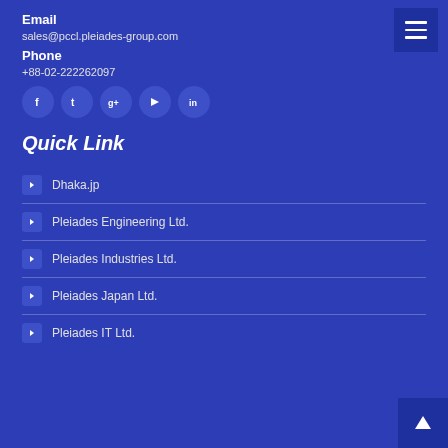Email
sales@pccl.pleiades-group.com
Phone
+88-02-222262097
[Figure (infographic): Row of 5 social media icon buttons (Facebook, Twitter, Google+, YouTube, LinkedIn) as dark blue circles on blue background]
Quick Link
Dhaka.jp
Pleiades Engineering Ltd.
Pleiades Industries Ltd.
Pleiades Japan Ltd.
Pleiades IT Ltd.